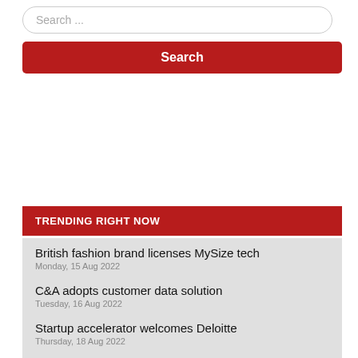[Figure (screenshot): Search input box with placeholder text 'Search ...']
[Figure (screenshot): Red search button labeled 'Search']
TRENDING RIGHT NOW
British fashion brand licenses MySize tech
Monday, 15 Aug 2022
C&A adopts customer data solution
Tuesday, 16 Aug 2022
Startup accelerator welcomes Deloitte
Thursday, 18 Aug 2022
Cone Denim adopts BastCore's hemp
Monday, 15 Aug 2022